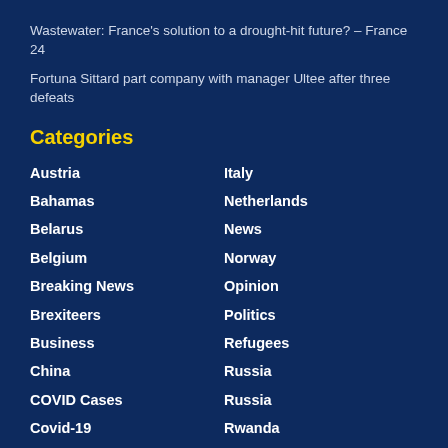Wastewater: France's solution to a drought-hit future? – France 24
Fortuna Sittard part company with manager Ultee after three defeats
Categories
Austria
Italy
Bahamas
Netherlands
Belarus
News
Belgium
Norway
Breaking News
Opinion
Brexiteers
Politics
Business
Refugees
China
Russia
COVID Cases
Russia
Covid-19
Rwanda
Cyber Security
Saudi Arabia
Debt
Science